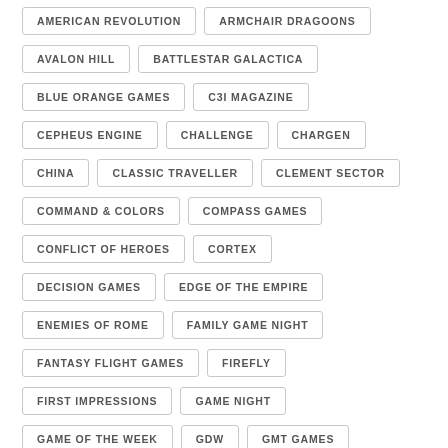AMERICAN REVOLUTION
ARMCHAIR DRAGOONS
AVALON HILL
BATTLESTAR GALACTICA
BLUE ORANGE GAMES
C3I MAGAZINE
CEPHEUS ENGINE
CHALLENGE
CHARGEN
CHINA
CLASSIC TRAVELLER
CLEMENT SECTOR
COMMAND & COLORS
COMPASS GAMES
CONFLICT OF HEROES
CORTEX
DECISION GAMES
EDGE OF THE EMPIRE
ENEMIES OF ROME
FAMILY GAME NIGHT
FANTASY FLIGHT GAMES
FIREFLY
FIRST IMPRESSIONS
GAME NIGHT
GAME OF THE WEEK
GDW
GMT GAMES